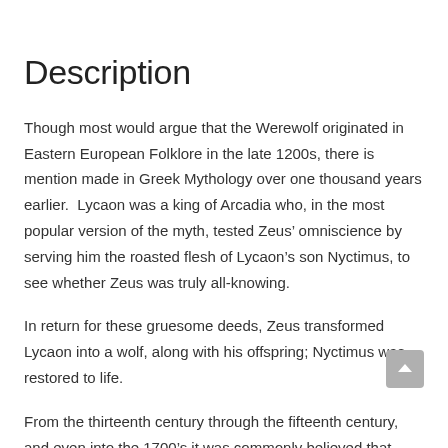Description
Though most would argue that the Werewolf originated in Eastern European Folklore in the late 1200s, there is mention made in Greek Mythology over one thousand years earlier.  Lycaon was a king of Arcadia who, in the most popular version of the myth, tested Zeus’ omniscience by serving him the roasted flesh of Lycaon’s son Nyctimus, to see whether Zeus was truly all-knowing.
In return for these gruesome deeds, Zeus transformed Lycaon into a wolf, along with his offspring; Nyctimus was restored to life.
From the thirteenth century through the fifteenth century, and even into the 1700’s it was commonly believed that